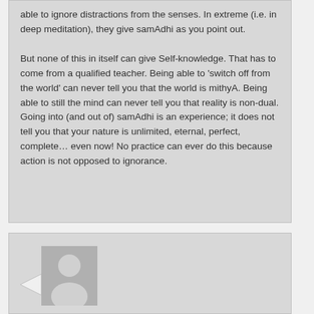able to ignore distractions from the senses. In extreme (i.e. in deep meditation), they give samAdhi as you point out.

But none of this in itself can give Self-knowledge. That has to come from a qualified teacher. Being able to 'switch off from the world' can never tell you that the world is mithyA. Being able to still the mind can never tell you that reality is non-dual. Going into (and out of) samAdhi is an experience; it does not tell you that your nature is unlimited, eternal, perfect, complete… even now! No practice can ever do this because action is not opposed to ignorance.
[Figure (illustration): User avatar placeholder image showing a generic person silhouette in gray]